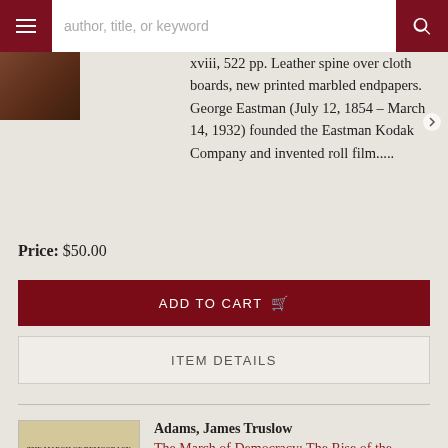[Figure (screenshot): Navigation bar with hamburger menu button, search input field with placeholder 'author, title, or keyword', and search icon button, all on dark red background]
xviii, 522 pp. Leather spine over cloth boards, new printed marbled endpapers. George Eastman (July 12, 1854 – March 14, 1932) founded the Eastman Kodak Company and invented roll film.....
Price: $50.00
ADD TO CART
ITEM DETAILS
Adams, James Truslow
The March of Democracy: The Rise of the Union (Volume I)
New York: Charles Scribner's Sons, 1932